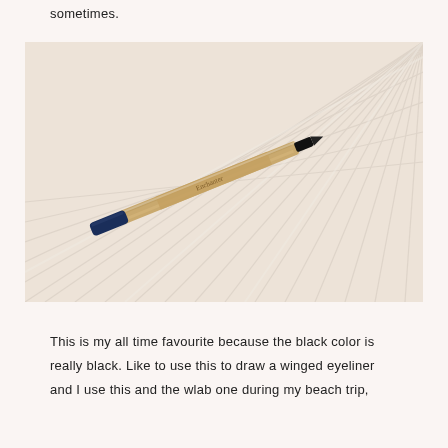sometimes.
[Figure (photo): A navy blue and gold/brown eyeliner pencil (Enchanter brand) lying diagonally on a light wood grain surface]
This is my all time favourite because the black color is really black. Like to use this to draw a winged eyeliner and I use this and the wlab one during my beach trip, both of them were waterproof so they were great